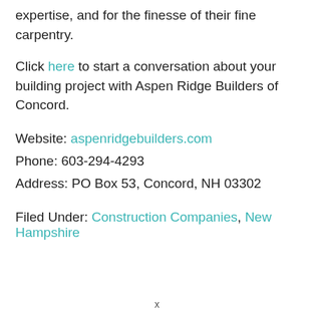expertise, and for the finesse of their fine carpentry.
Click here to start a conversation about your building project with Aspen Ridge Builders of Concord.
Website: aspenridgebuilders.com
Phone: 603-294-4293
Address: PO Box 53, Concord, NH 03302
Filed Under: Construction Companies, New Hampshire